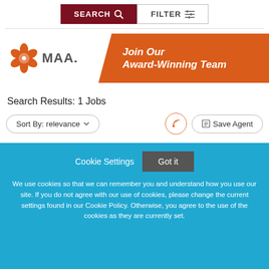[Figure (screenshot): Top navigation bar with SEARCH and FILTER buttons]
[Figure (illustration): MAA logo with orange flower icon and 'Join Our Award-Winning Team' orange banner]
Search Results: 1 Jobs
Sort By: relevance
Save Agent
Cookie Settings
Got it
We use cookies so that we can remember you and understand how you use our site. If you do not agree with our use of cookies, please change the current settings found in our Cookie Policy. Otherwise, you agree to the use of the cookies as they are currently set.